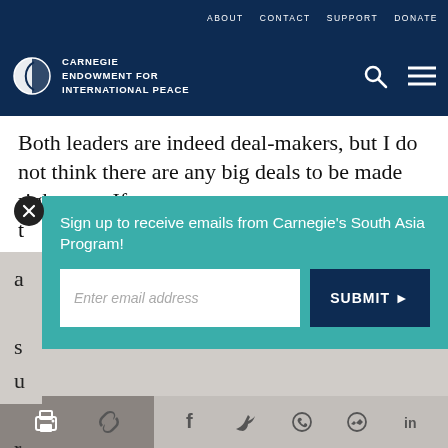ABOUT  CONTACT  SUPPORT  DONATE
[Figure (logo): Carnegie Endowment for International Peace logo with globe icon and navigation icons (search, menu)]
Both leaders are indeed deal-makers, but I do not think there are any big deals to be made right now. If t
[Figure (infographic): Teal popup overlay with email signup: 'Sign up to receive emails from Carnegie's South Asia Program!' with email input field and SUBMIT button]
languid defence procurement process, there are few things that would galvanise both sides. India could
Print | Link | Facebook | Twitter | WhatsApp | Messenger | LinkedIn